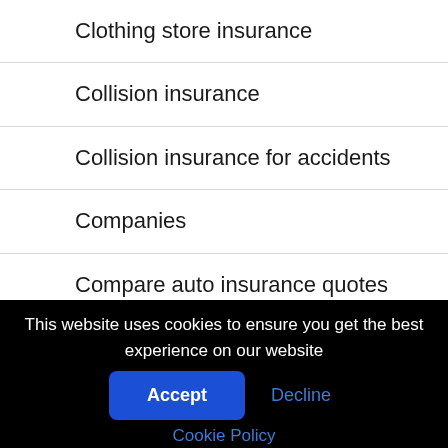Clothing store insurance
Collision insurance
Collision insurance for accidents
Companies
Compare auto insurance quotes
Compare dog insurance quotes
This website uses cookies to ensure you get the best experience on our website
Accept
Decline
Cookie Policy